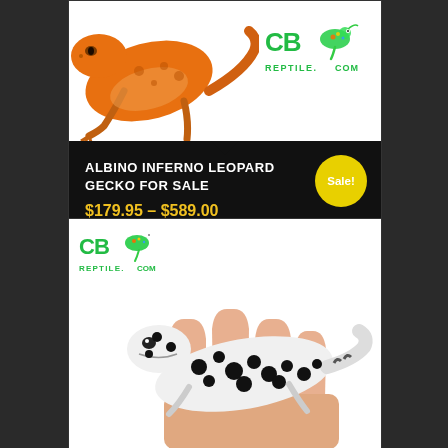[Figure (photo): Orange/yellow albino inferno leopard gecko on white background with CB Reptile logo watermark top right]
ALBINO INFERNO LEOPARD GECKO FOR SALE
$179.95 – $589.00
Sale!
Select options
[Figure (photo): Spotted black-and-white leopard gecko sitting on a human hand, CB Reptile logo in top left corner]